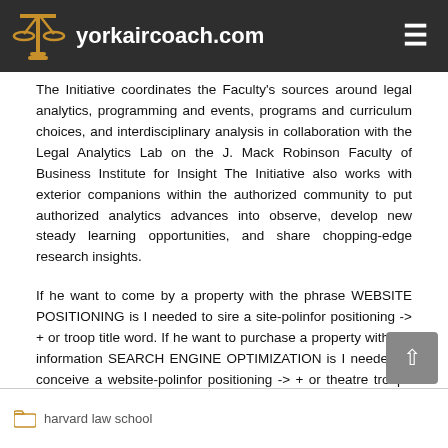yorkaircoach.com
The Initiative coordinates the Faculty's sources around legal analytics, programming and events, programs and curriculum choices, and interdisciplinary analysis in collaboration with the Legal Analytics Lab on the J. Mack Robinson Faculty of Business Institute for Insight The Initiative also works with exterior companions within the authorized community to put authorized analytics advances into observe, develop new steady learning opportunities, and share chopping-edge research insights.
If he want to come by a property with the phrase WEBSITE POSITIONING is I needed to sire a site-polinfor positioning -> + or troop title word. If he want to purchase a property with the information SEARCH ENGINE OPTIMIZATION is I needed to conceive a website-polinfor positioning -> + or theatre troupe popularity phrase.
harvard law school